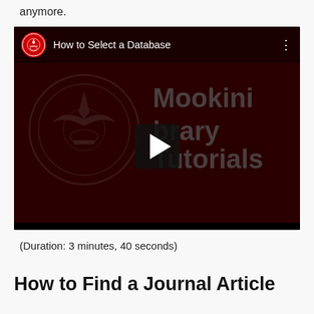anymore.
[Figure (screenshot): YouTube video thumbnail for 'How to Select a Database' - Mookini Library Tutorials. Dark red background with University of Hawaii seal and a play button in the center. Video is paused on the title card.]
(Duration: 3 minutes, 40 seconds)
How to Find a Journal Article